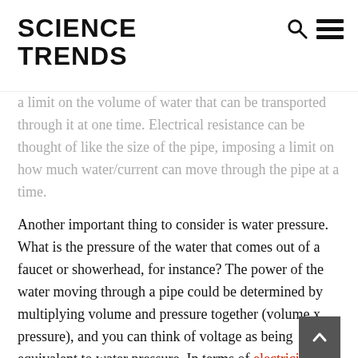SCIENCE TRENDS
a limit on the volume of water that can be transported through it at one time. Electrical resistance can be thought of like the size of the pipe, imposing a limit on how much water/current can move through the pipe at a time.
Another important thing to consider is water pressure. What is the pressure of the water that comes out of a faucet or showerhead, for instance? The power of the water moving through a pipe could be determined by multiplying volume and pressure together (volume x pressure), and you can think of voltage as being equivalent to water pressure. In terms of electricity, the overall power of an electrical current (watts) is determined by relating amps and volts.
So if you were to increase the amount of pressure in a tank of water, as you might be able to guess, more water would come out of the tanks through the pipe. This analogy holds true when examining the function of an electrical system. Upping the voltage of a system makes more current flow